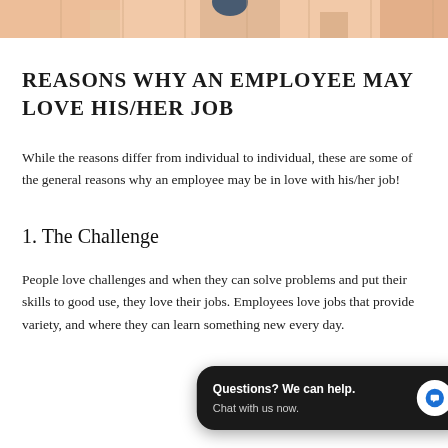[Figure (illustration): Top portion of an illustration showing people, cropped at top of page with peach/tan background tones]
REASONS WHY AN EMPLOYEE MAY LOVE HIS/HER JOB
While the reasons differ from individual to individual, these are some of the general reasons why an employee may be in love with his/her job!
1. The Challenge
People love challenges and when they can solve problems and put their skills to good use, they love their jobs. Employees love jobs that provide variety, and where they can learn something new every day.